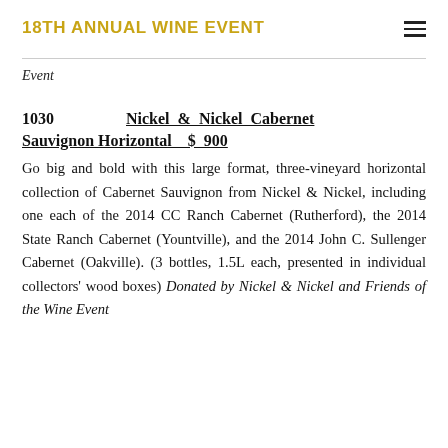18TH ANNUAL WINE EVENT
Event
1030  Nickel & Nickel Cabernet Sauvignon Horizontal  $ 900
Go big and bold with this large format, three-vineyard horizontal collection of Cabernet Sauvignon from Nickel & Nickel, including one each of the 2014 CC Ranch Cabernet (Rutherford), the 2014 State Ranch Cabernet (Yountville), and the 2014 John C. Sullenger Cabernet (Oakville). (3 bottles, 1.5L each, presented in individual collectors' wood boxes) Donated by Nickel & Nickel and Friends of the Wine Event